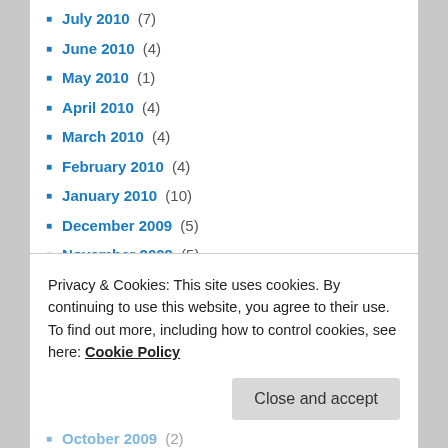July 2010 (7)
June 2010 (4)
May 2010 (1)
April 2010 (4)
March 2010 (4)
February 2010 (4)
January 2010 (10)
December 2009 (5)
November 2009 (5)
October 2009 (5)
September 2009 (4)
August 2009 (2)
July 2009 (3)
June 2009 (3)
May 2009 (3)
October 2009 (2)
Privacy & Cookies: This site uses cookies. By continuing to use this website, you agree to their use.
To find out more, including how to control cookies, see here: Cookie Policy